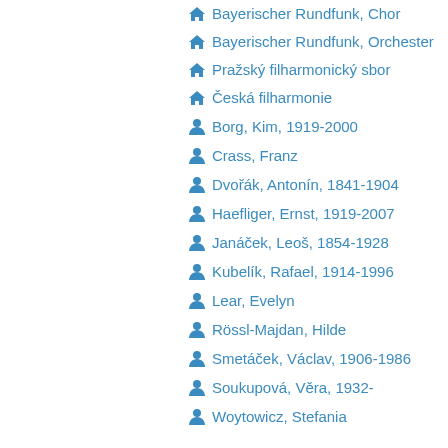Bayerischer Rundfunk, Chor
Bayerischer Rundfunk, Orchester
Pražský filharmonický sbor
Česká filharmonie
Borg, Kim, 1919-2000
Crass, Franz
Dvořák, Antonín, 1841-1904
Haefliger, Ernst, 1919-2007
Janáček, Leoš, 1854-1928
Kubelík, Rafael, 1914-1996
Lear, Evelyn
Rössl-Majdan, Hilde
Smetáček, Václav, 1906-1986
Soukupová, Věra, 1932-
Woytowicz, Stefania
Language
lat
chu